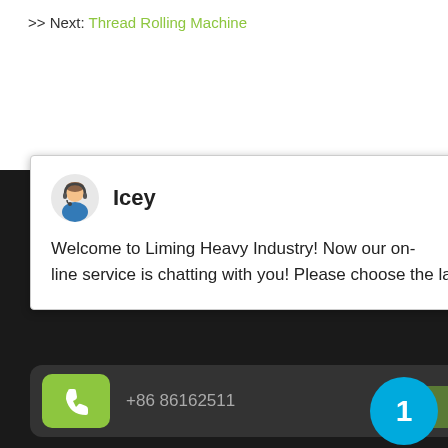>> Next: Thread Rolling Machine
[Figure (screenshot): Chat popup widget from Liming Heavy Industry website with avatar of support agent named Icey, close button, and welcome message]
Welcome to Liming Heavy Industry! Now our on-line service is chatting with you! Please choose the language :
+86 86162511
Send Us A Mail: bestforyouzh@yahoo.com